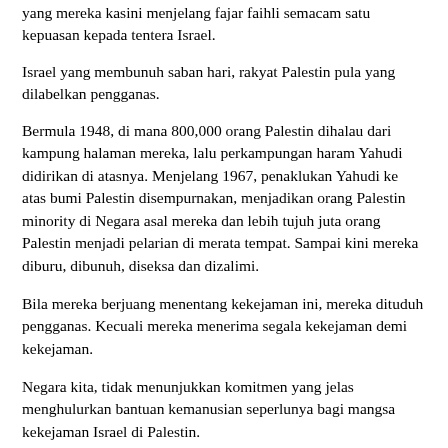yang mereka kasini menjelang fajar faihli semacam satu kepuasan kepada tentera Israel.
Israel yang membunuh saban hari, rakyat Palestin pula yang dilabelkan pengganas.
Bermula 1948, di mana 800,000 orang Palestin dihalau dari kampung halaman mereka, lalu perkampungan haram Yahudi didirikan di atasnya. Menjelang 1967, penaklukan Yahudi ke atas bumi Palestin disempurnakan, menjadikan orang Palestin minority di Negara asal mereka dan lebih tujuh juta orang Palestin menjadi pelarian di merata tempat. Sampai kini mereka diburu, dibunuh, diseksa dan dizalimi.
Bila mereka berjuang menentang kekejaman ini, mereka dituduh pengganas. Kecuali mereka menerima segala kekejaman demi kekejaman.
Negara kita, tidak menunjukkan komitmen yang jelas menghulurkan bantuan kemanusian seperlunya bagi mangsa kekejaman Israel di Palestin.
Selain itu, janji Naib Ketua Pemuda UMNO untuk mendedahkan syarikat Yahudi yang beroperasi di Negara kita, hingga kini belum keluar keluar... Terkunci?